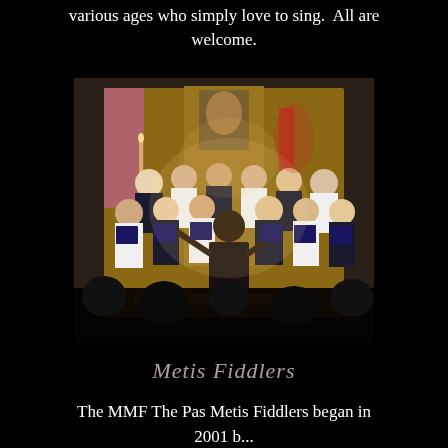various ages who simply love to sing.  All are welcome.
[Figure (photo): A choir performing on a church stage, directed by a conductor with their back to the audience. Choir members are dressed in black and white and holding music folders. The setting appears to be a church interior with wooden fixtures and decorative elements. Audience silhouettes are visible in the foreground.]
Metis Fiddlers
The MMF The Pas Metis Fiddlers began in 2001 b...